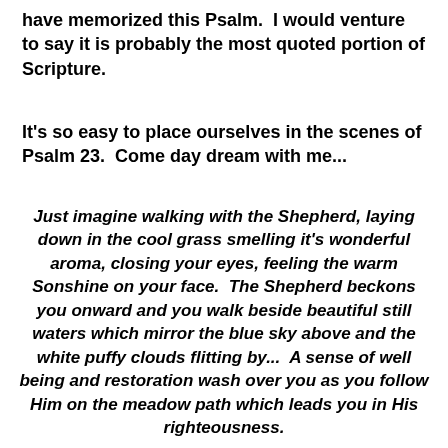have memorized this Psalm.  I would venture to say it is probably the most quoted portion of Scripture.
It's so easy to place ourselves in the scenes of Psalm 23.  Come day dream with me...
Just imagine walking with the Shepherd, laying down in the cool grass smelling it's wonderful aroma, closing your eyes, feeling the warm Sonshine on your face.  The Shepherd beckons you onward and you walk beside beautiful still waters which mirror the blue sky above and the white puffy clouds flitting by...  A sense of well being and restoration wash over you as you follow Him on the meadow path which leads you in His righteousness.